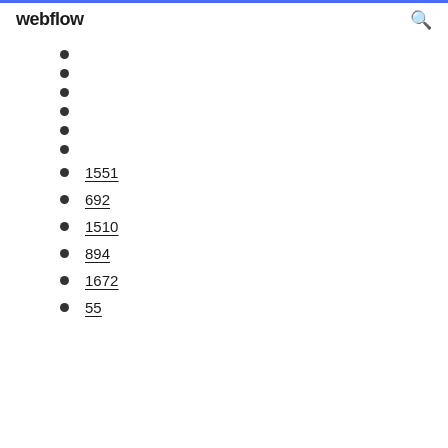webflow
1551
692
1510
894
1672
55